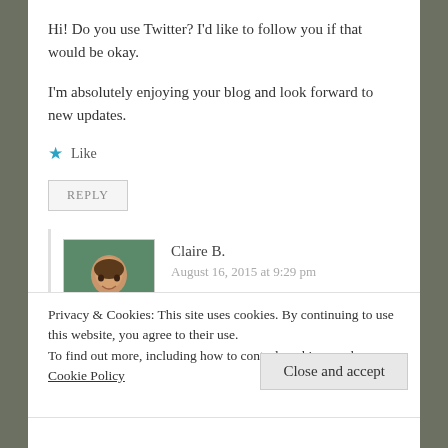Hi! Do you use Twitter? I'd like to follow you if that would be okay.
I'm absolutely enjoying your blog and look forward to new updates.
★ Like
REPLY
Claire B.
August 16, 2015 at 9:29 pm
Glad you're enjoying it! I am on Twitter as
Privacy & Cookies: This site uses cookies. By continuing to use this website, you agree to their use.
To find out more, including how to control cookies, see here: Cookie Policy
Close and accept